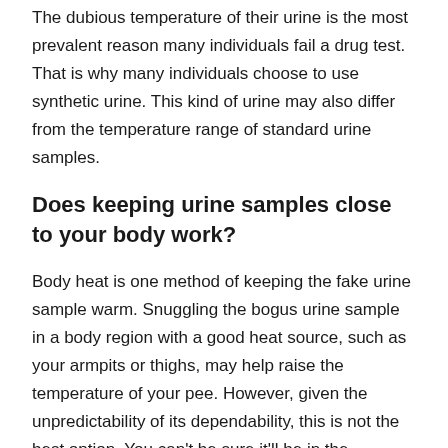The dubious temperature of their urine is the most prevalent reason many individuals fail a drug test. That is why many individuals choose to use synthetic urine. This kind of urine may also differ from the temperature range of standard urine samples.
Does keeping urine samples close to your body work?
Body heat is one method of keeping the fake urine sample warm. Snuggling the bogus urine sample in a body region with a good heat source, such as your armpits or thighs, may help raise the temperature of your pee. However, given the unpredictability of its dependability, this is not the best option. You can't be sure it'll be in the appropriate temperature range when